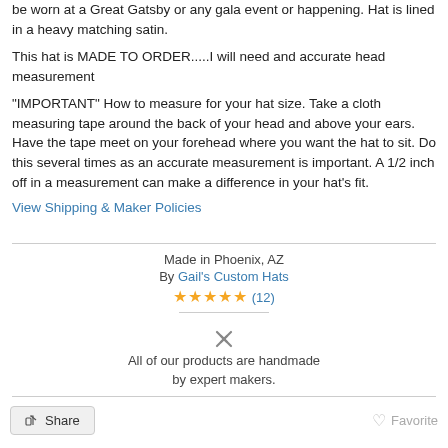be worn at a Great Gatsby or any gala event or happening. Hat is lined in a heavy matching satin.
This hat is MADE TO ORDER.....I will need and accurate head measurement
"IMPORTANT" How to measure for your hat size. Take a cloth measuring tape around the back of your head and above your ears. Have the tape meet on your forehead where you want the hat to sit. Do this several times as an accurate measurement is important. A 1/2 inch off in a measurement can make a difference in your hat's fit.
View Shipping & Maker Policies
Made in Phoenix, AZ
By Gail's Custom Hats
★★★★★ (12)
All of our products are handmade by expert makers.
Share   Favorite